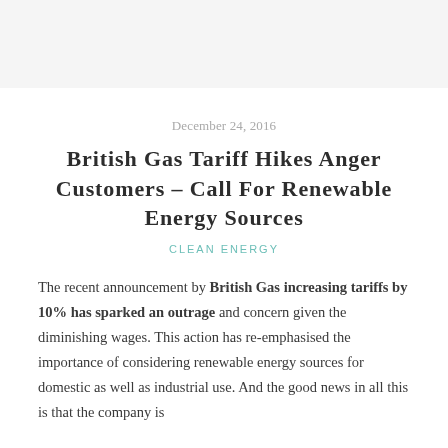December 24, 2016
British Gas Tariff Hikes Anger Customers – Call For Renewable Energy Sources
CLEAN ENERGY
The recent announcement by British Gas increasing tariffs by 10% has sparked an outrage and concern given the diminishing wages. This action has re-emphasised the importance of considering renewable energy sources for domestic as well as industrial use. And the good news in all this is that the company is